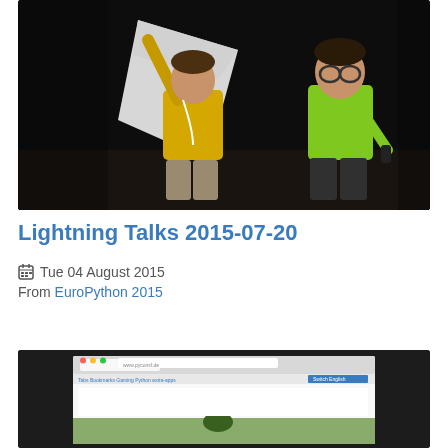[Figure (photo): Two men on a stage in a dark room. One man wearing a yellow t-shirt holds up a large white piece of paper/flag. The other man wears a green t-shirt and holds a remote clicker.]
Lightning Talks 2015-07-20
Tue 04 August 2015
From EuroPython 2015
[Figure (screenshot): Screenshot of a laptop screen showing a Chrome browser window with a Python-related website open. A green gradient background is visible at the bottom of the frame.]